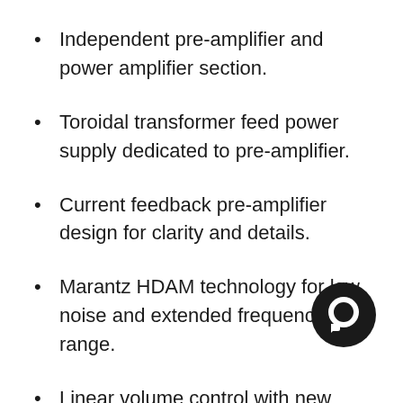Independent pre-amplifier and power amplifier section.
Toroidal transformer feed power supply dedicated to pre-amplifier.
Current feedback pre-amplifier design for clarity and details.
Marantz HDAM technology for low noise and extended frequency range.
Linear volume control with new electric volume system for best linearity.
Switching mode power amplifier with dedicated